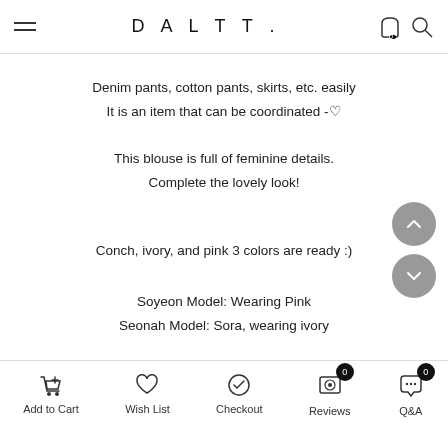DALTT.
Denim pants, cotton pants, skirts, etc. easily
It is an item that can be coordinated -♡
This blouse is full of feminine details.
Complete the lovely look!
Conch, ivory, and pink 3 colors are ready :)
Soyeon Model: Wearing Pink
Seonah Model: Sora, wearing ivory
Add to Cart  Wish List  Checkout  Reviews  Q&A